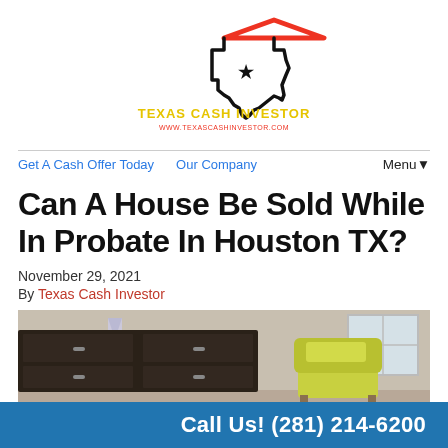[Figure (logo): Texas Cash Investor logo with Texas state outline, red roof shape, yellow text 'TEXAS CASH INVESTOR' and red text 'WWW.TEXASCASHINVESTOR.COM']
Get A Cash Offer Today   Our Company   Menu▼
Can A House Be Sold While In Probate In Houston TX?
November 29, 2021
By Texas Cash Investor
[Figure (photo): Interior room photo showing a dark wood dresser on the left and a yellow upholstered chair on the right near a window]
Call Us! (281) 214-6200